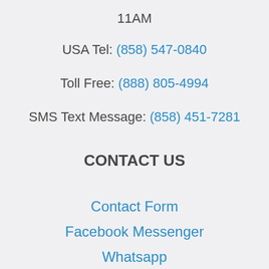11AM
USA Tel: (858) 547-0840
Toll Free: (888) 805-4994
SMS Text Message: (858) 451-7281
CONTACT US
Contact Form
Facebook Messenger
Whatsapp
SMS Text Message
Telegram